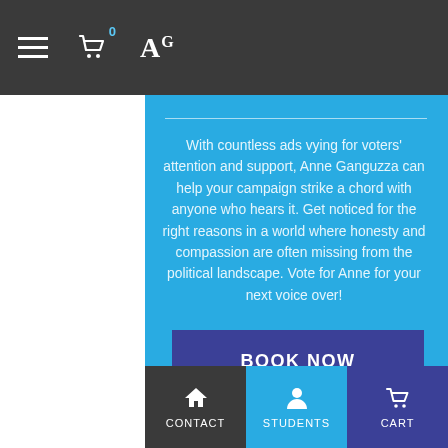Navigation bar with hamburger menu, cart icon with badge 0, AG logo, Sign In link
With countless ads vying for voters' attention and support, Anne Ganguzza can help your campaign strike a chord with anyone who hears it. Get noticed for the right reasons in a world where honesty and compassion are often missing from the political landscape. Vote for Anne for your next voice over!
[Figure (screenshot): BOOK NOW button — dark blue rectangular button with white bold text]
CONTACT | STUDENTS | CART — bottom navigation bar with icons